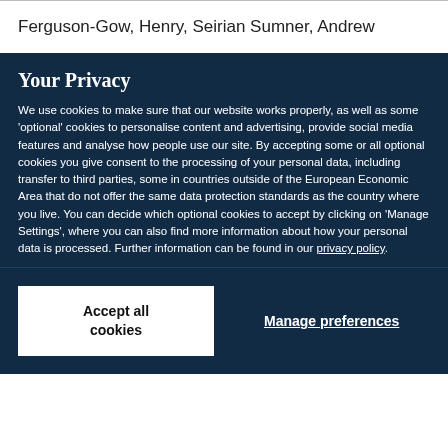Ferguson-Gow, Henry, Seirian Sumner, Andrew
Your Privacy
We use cookies to make sure that our website works properly, as well as some 'optional' cookies to personalise content and advertising, provide social media features and analyse how people use our site. By accepting some or all optional cookies you give consent to the processing of your personal data, including transfer to third parties, some in countries outside of the European Economic Area that do not offer the same data protection standards as the country where you live. You can decide which optional cookies to accept by clicking on 'Manage Settings', where you can also find more information about how your personal data is processed. Further information can be found in our privacy policy.
Accept all cookies
Manage preferences